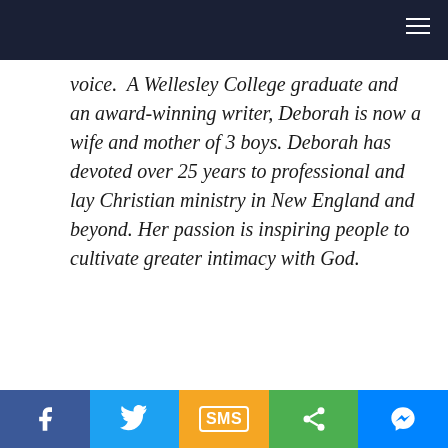voice.  A Wellesley College graduate and an award-winning writer, Deborah is now a wife and mother of 3 boys. Deborah has devoted over 25 years to professional and lay Christian ministry in New England and beyond. Her passion is inspiring people to cultivate greater intimacy with God.
[Figure (infographic): Social share bar with Facebook, Twitter, SMS, general share, and Messenger buttons]